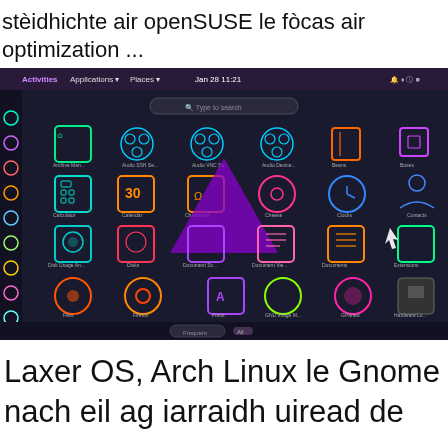stèidhichte air openSUSE le fòcas air optimization ...
[Figure (screenshot): Screenshot of a GNOME desktop application launcher on a dark theme (openSUSE/Linux), showing colorful neon-style app icons including Archive Manager, Audio SSH Manager, Audio VNC Server, Audio Device, Books, Boxes, Calculator, Calendar, Characters, Cheese, Clocks, Contacts, Disk Usage Analyzer, Disks, Document Scanner, Document Viewer, Documents, Extensions, Files, Firefox, Fonts, GNU Image Manipulation Program, GParted, Hardware Lookup. A purple triangle/arrow overlay is visible in the center. The top bar shows Activities, Applications, Places menus and a clock.]
Laxer OS, Arch Linux le Gnome nach eil ag iarraidh uiread de